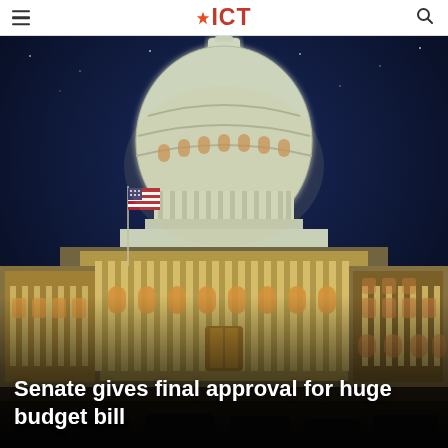ICT
[Figure (photo): Nighttime photograph of the United States Capitol building dome illuminated against a dark blue sky, with American flag visible on the left side and the building's lit columns and facade below.]
Senate gives final approval for huge budget bill